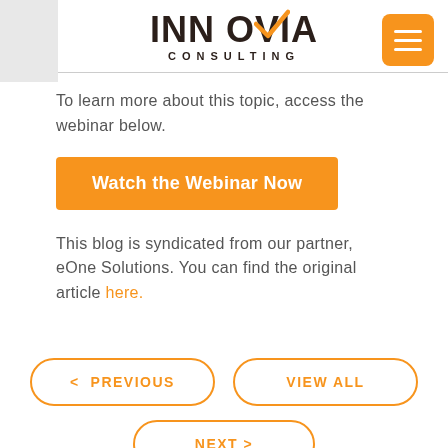[Figure (logo): Innovia Consulting logo with orange checkmark above the letter V, text CONSULTING below in spaced letters, and orange hamburger menu button in top right corner]
To learn more about this topic, access the webinar below.
Watch the Webinar Now
This blog is syndicated from our partner, eOne Solutions. You can find the original article here.
< PREVIOUS
VIEW ALL
NEXT >